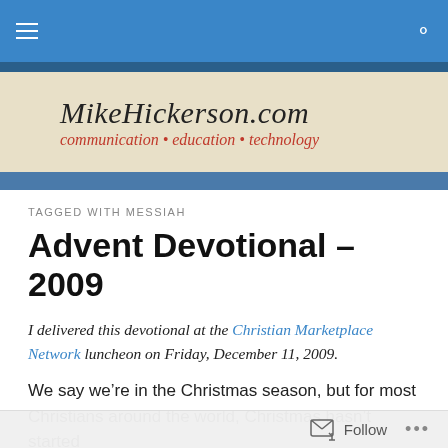MikeHickerson.com — communication • education • technology
TAGGED WITH MESSIAH
Advent Devotional – 2009
I delivered this devotional at the Christian Marketplace Network luncheon on Friday, December 11, 2009.
We say we're in the Christmas season, but for most Christians around the world, Christmas hasn't started